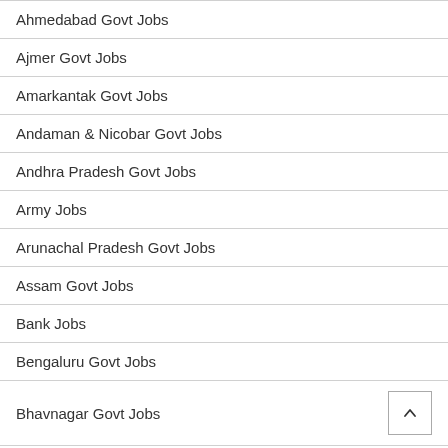Ahmedabad Govt Jobs
Ajmer Govt Jobs
Amarkantak Govt Jobs
Andaman & Nicobar Govt Jobs
Andhra Pradesh Govt Jobs
Army Jobs
Arunachal Pradesh Govt Jobs
Assam Govt Jobs
Bank Jobs
Bengaluru Govt Jobs
Bhavnagar Govt Jobs
Bhopal Govt Jobs